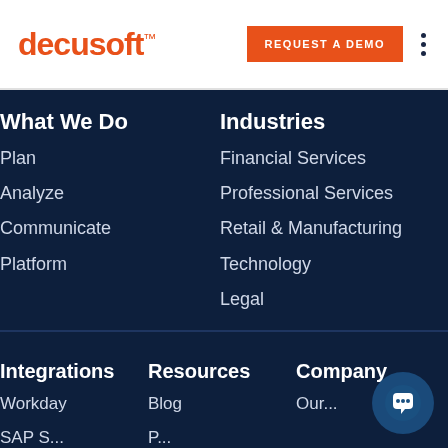[Figure (logo): Decusoft logo in orange text]
REQUEST A DEMO
What We Do
Plan
Analyze
Communicate
Platform
Industries
Financial Services
Professional Services
Retail & Manufacturing
Technology
Legal
Integrations
Workday
SAPS
Resources
Blog
P...
Company
Our...